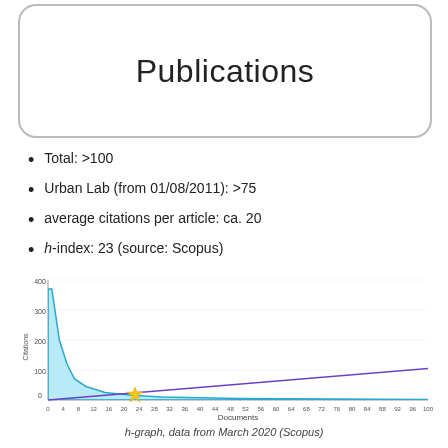Publications
Total: >100
Urban Lab (from 01/08/2011): >75
average citations per article: ca. 20
h-index: 23 (source: Scopus)
[Figure (continuous-plot): h-graph showing citations (y-axis, 0-400) vs documents (x-axis, 0-100). A cyan-filled area curve starts high (~370 citations) at document 1 and rapidly decays toward zero. A purple diagonal line rises linearly from 0 to ~105 at document 100. The two lines intersect near document 23, marked with a gold star.]
h-graph, data from March 2020 (Scopus)